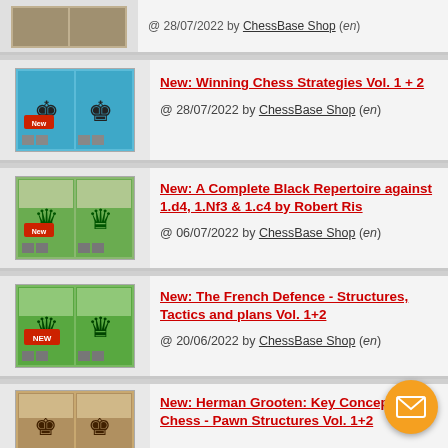@ 28/07/2022 by ChessBase Shop (en) — (partial top row visible)
[Figure (screenshot): Product image for Winning Chess Strategies Vol. 1+2 showing two chess DVDs with blue theme]
New: Winning Chess Strategies Vol. 1 + 2
@ 28/07/2022 by ChessBase Shop (en)
[Figure (screenshot): Product image for A Complete Black Repertoire against 1.d4, 1.Nf3 & 1.c4 by Robert Ris with green chess pieces]
New: A Complete Black Repertoire against 1.d4, 1.Nf3 & 1.c4 by Robert Ris
@ 06/07/2022 by ChessBase Shop (en)
[Figure (screenshot): Product image for The French Defence - Structures, Tactics and plans Vol. 1+2 with green chess pieces]
New: The French Defence - Structures, Tactics and plans Vol. 1+2
@ 20/06/2022 by ChessBase Shop (en)
[Figure (screenshot): Product image for Herman Grooten: Key Concepts of Chess - Pawn Structures Vol. 1+2]
New: Herman Grooten: Key Concepts of Chess - Pawn Structures Vol. 1+2